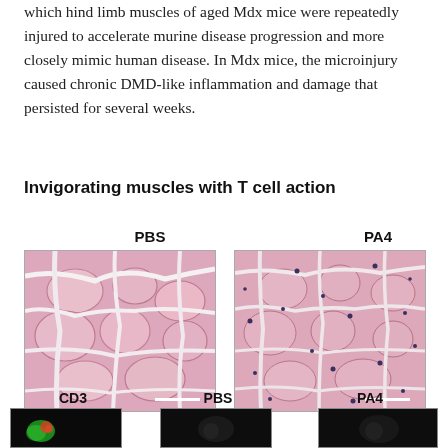which hind limb muscles of aged Mdx mice were repeatedly injured to accelerate murine disease progression and more closely mimic human disease. In Mdx mice, the microinjury caused chronic DMD-like inflammation and damage that persisted for several weeks.
Invigorating muscles with T cell action
[Figure (photo): Histology images of muscle tissue sections labeled PBS (left) and PA4 (right), showing hematoxylin and eosin stained cross-sections of muscle fibers. PBS shows larger fibers with connective tissue; PA4 shows more uniform fibers with scattered dark inflammatory cells. Scale bars visible in lower right of each image.]
[Figure (photo): Bottom row of microscopy images labeled CD3, PBS, and PA4, showing immunostained or fluorescent images (partially visible at bottom of page).]